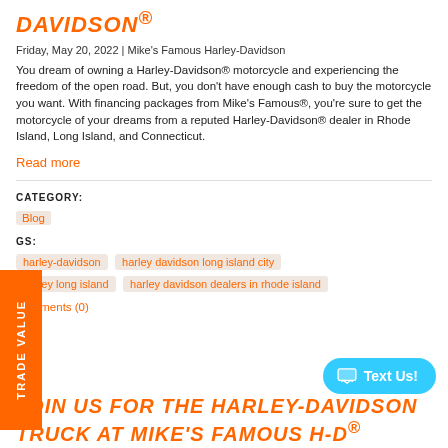DAVIDSON®
Friday, May 20, 2022 | Mike's Famous Harley-Davidson
You dream of owning a Harley-Davidson® motorcycle and experiencing the freedom of the open road. But, you don't have enough cash to buy the motorcycle you want. With financing packages from Mike's Famous®, you're sure to get the motorcycle of your dreams from a reputed Harley-Davidson® dealer in Rhode Island, Long Island, and Connecticut.
Read more
CATEGORY:
Blog
GS:
harley-davidson
harley davidson long island city
harley long island
harley davidson dealers in rhode island
Comments (0)
JOIN US FOR THE HARLEY-DAVIDSON TRUCK AT MIKE'S FAMOUS H-D®